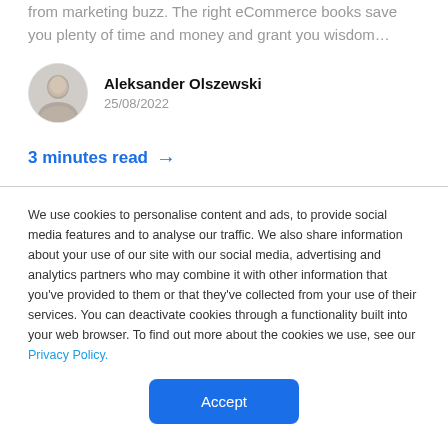from marketing buzz. The right eCommerce books save you plenty of time and money and grant you wisdom…
Aleksander Olszewski
25/08/2022
3 minutes read →
We use cookies to personalise content and ads, to provide social media features and to analyse our traffic. We also share information about your use of our site with our social media, advertising and analytics partners who may combine it with other information that you've provided to them or that they've collected from your use of their services. You can deactivate cookies through a functionality built into your web browser. To find out more about the cookies we use, see our Privacy Policy.
Accept